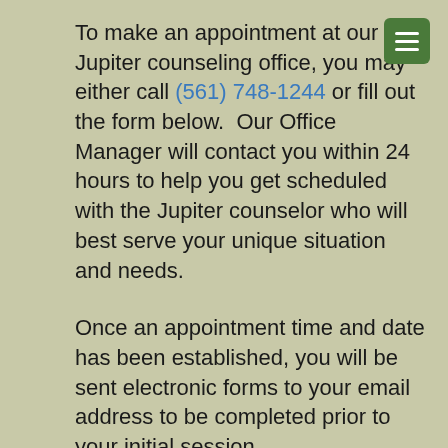To make an appointment at our Jupiter counseling office, you may either call (561) 748-1244 or fill out the form below.  Our Office Manager will contact you within 24 hours to help you get scheduled with the Jupiter counselor who will best serve your unique situation and needs.
Once an appointment time and date has been established, you will be sent electronic forms to your email address to be completed prior to your initial session.
Our office is conveniently located in the center of Jupiter at 1132 W. Indiantown Road, on the second floor in suite #202.  We are in the 2-story, yellow building with the 'Sola' marquee